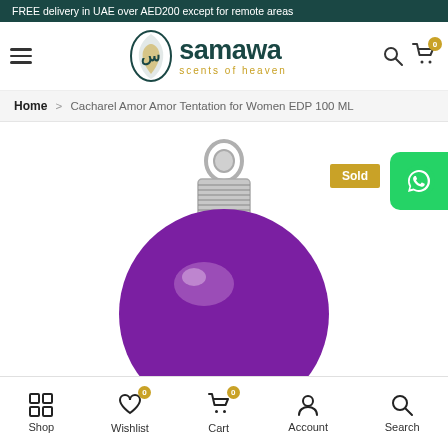FREE delivery in UAE over AED200 except for remote areas
[Figure (logo): Samawa Scents of Heaven logo with Arabic calligraphy and green/gold text]
Home > Cacharel Amor Amor Tentation for Women EDP 100 ML
[Figure (photo): Close-up of a purple spherical Cacharel Amor Amor Tentation perfume bottle with silver coil cap and ring, on white background. A 'Sold' badge in gold is visible at the upper right.]
Shop | Wishlist (0) | Cart (0) | Account | Search